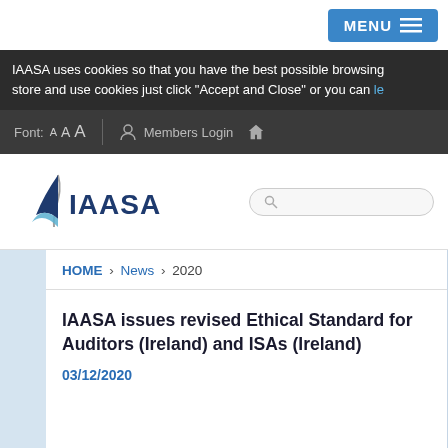MENU
IAASA uses cookies so that you have the best possible browsing store and use cookies just click "Accept and Close" or you can le
Font: A A A | Members Login (home icon)
[Figure (logo): IAASA logo with stylized wave/flag graphic and text IAASA]
HOME › News › 2020
IAASA issues revised Ethical Standard for Auditors (Ireland) and ISAs (Ireland)
03/12/2020